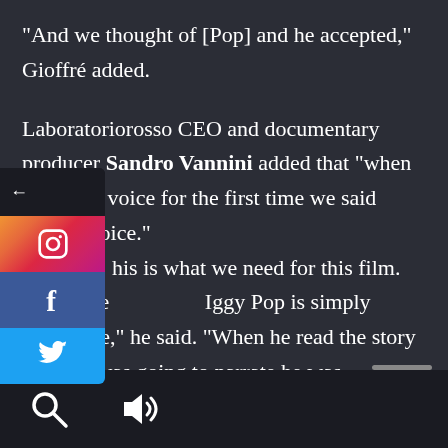“And we thought of [Pop] and he accepted,” Gioffré added.
Laboratoriorosso CEO and documentary producer Sandro Vannini added that “when [we] heard his voice for the first time we said [this] is the voice.”
[T]his is what we need for this film. The voice [of] Iggy Pop is simply incredible,” he said. “When he read the story what he was going to narrate he was immediately keen to work with
[Figure (screenshot): Social media share sidebar with back arrow, Instagram, Facebook, and Twitter buttons overlaid on the left side of the article]
[Figure (screenshot): Bottom navigation bar with search icon and audio/speaker icon on dark background]